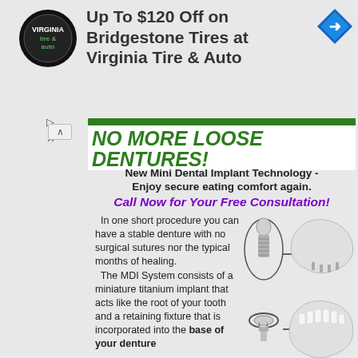[Figure (logo): Virginia Tire & Auto circular logo in black and white]
Up To $120 Off on Bridgestone Tires at Virginia Tire & Auto
[Figure (illustration): Blue diamond-shaped navigation/direction arrow icon]
NO MORE LOOSE DENTURES!
New Mini Dental Implant Technology - Enjoy secure eating comfort again.
Call Now for Your Free Consultation!
In one short procedure you can have a stable denture with no surgical sutures nor the typical months of healing. The MDI System consists of a miniature titanium implant that acts like the root of your tooth and a retaining fixture that is incorporated into the base of your denture
[Figure (illustration): Dental implant diagram showing a mini implant screw in an oval callout with an arrow pointing to a lower jaw denture, and below that a socket/connector component with an arrow pointing to a full lower denture with teeth]